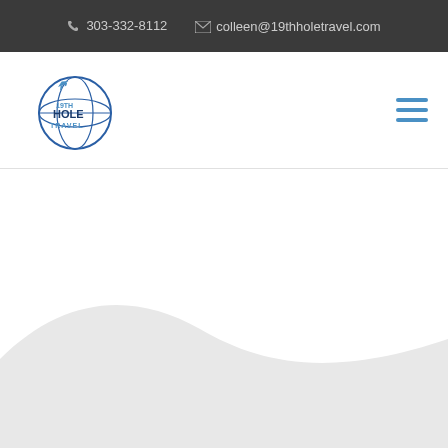📞 303-332-8112   ✉ colleen@19thholetravel.com
[Figure (logo): 19th Hole Travel logo — circular globe graphic with airplane, text '19TH HOLE TRAVEL' in blue and dark blue]
[Figure (illustration): Hamburger menu icon — three horizontal blue lines]
[Figure (illustration): Light gray wave/hill decorative shape at bottom of page]